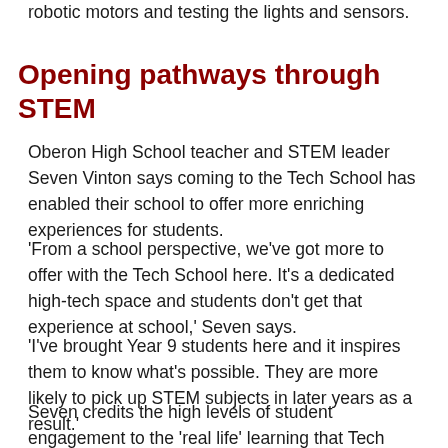robotic motors and testing the lights and sensors.
Opening pathways through STEM
Oberon High School teacher and STEM leader Seven Vinton says coming to the Tech School has enabled their school to offer more enriching experiences for students.
'From a school perspective, we've got more to offer with the Tech School here. It's a dedicated high-tech space and students don't get that experience at school,' Seven says.
'I've brought Year 9 students here and it inspires them to know what's possible. They are more likely to pick up STEM subjects in later years as a result.'
Seven credits the high levels of student engagement to the 'real life' learning that Tech Schools offer.